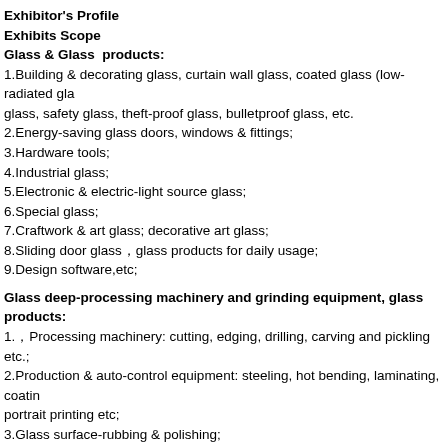Exhibitor's Profile
Exhibits Scope
Glass & Glass products:
1.Building & decorating glass, curtain wall glass, coated glass (low-radiated glass, safety glass, theft-proof glass, bulletproof glass, etc.
2.Energy-saving glass doors, windows & fittings;
3.Hardware tools;
4.Industrial glass;
5.Electronic & electric-light source glass;
6.Special glass;
7.Craftwork & art glass; decorative art glass;
8.Sliding door glass，glass products for daily usage;
9.Design software,etc;
Glass deep-processing machinery and grinding equipment, glass products:
1.，Processing machinery: cutting, edging, drilling, carving and pickling etc.;
2.Production & auto-control equipment: steeling, hot bending, laminating, coating, portrait printing etc;
3.Glass surface-rubbing & polishing;
4.Grinders, cutters and other tools for glass processing.
Glass Manufacturing Technology & Equipment, Instrument & Apparatus, Supporting Systems: